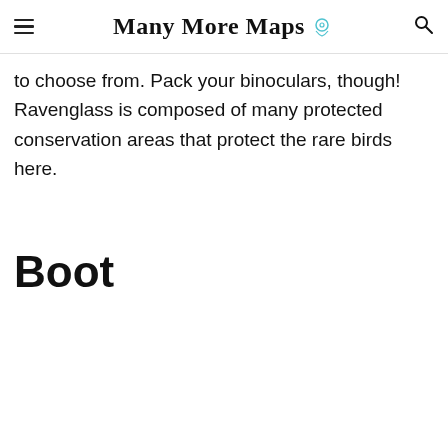Many More Maps
to choose from. Pack your binoculars, though! Ravenglass is composed of many protected conservation areas that protect the rare birds here.
Boot